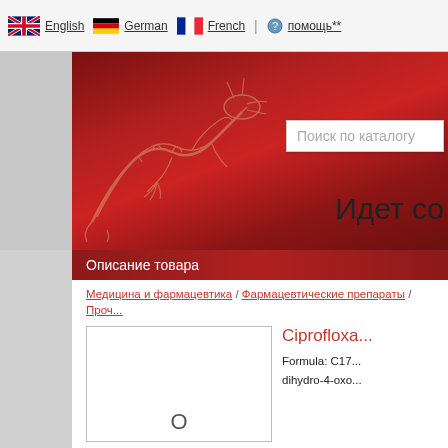English | German | French | помощь**
[Figure (screenshot): Website banner with red gradient background and decorative golden dragon illustration on left side. Search box labeled 'Поиск по каталогу' on right. Loading text 'Идет со' visible.]
Описание товара
Медицина и фармацевтика / Фармацевтические препараты / Проч...
Ciprofloxа...
Formula: C17... dihydro-4-охо...